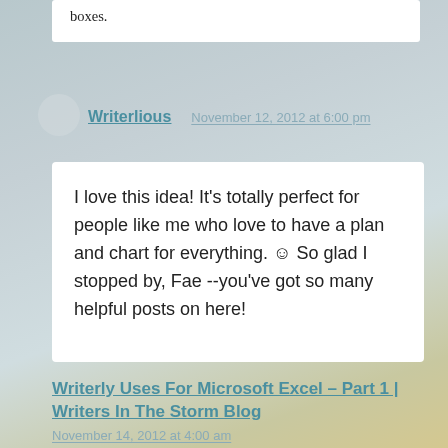boxes.
Writerlious
November 12, 2012 at 6:00 pm
I love this idea! It's totally perfect for people like me who love to have a plan and chart for everything. ☺ So glad I stopped by, Fae --you've got so many helpful posts on here!
Writerly Uses For Microsoft Excel – Part 1 | Writers In The Storm Blog
November 14, 2012 at 4:00 am